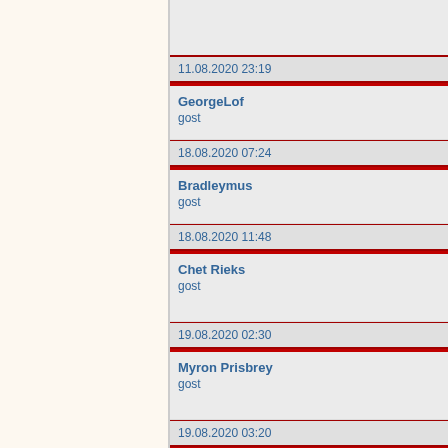| Date/User/Role |
| --- |
| 11.08.2020 23:19 |
| GeorgeLof | gost |
| 18.08.2020 07:24 |
| Bradleymus | gost |
| 18.08.2020 11:48 |
| Chet Rieks | gost |
| 19.08.2020 02:30 |
| Myron Prisbrey | gost |
| 19.08.2020 03:20 |
| Sammie Reinecke | gost |